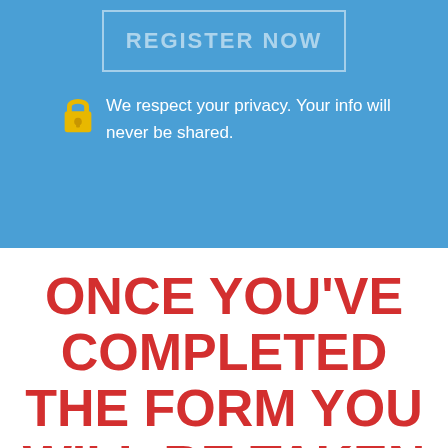[Figure (screenshot): Register Now button with border on blue background]
We respect your privacy. Your info will never be shared.
ONCE YOU'VE COMPLETED THE FORM YOU WILL BE TAKEN TO A SECURE PAYMENT PAGE